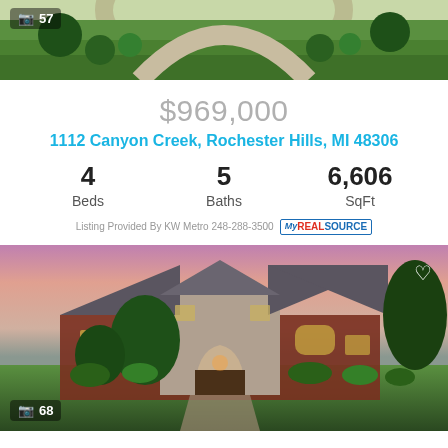[Figure (photo): Aerial/ground view of green landscaped driveway with circular drive]
$969,000
1112 Canyon Creek, Rochester Hills, MI 48306
4 Beds   5 Baths   6,606 SqFt
Listing Provided By KW Metro 248-288-3500
[Figure (photo): Large brick and stone two-story home with lush green lawn at dusk/sunset]